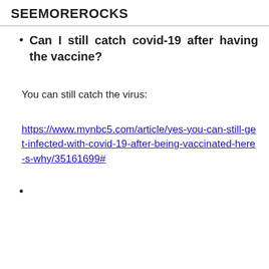SEEMOREROCKS
Can I still catch covid-19 after having the vaccine?
You can still catch the virus:
https://www.mynbc5.com/article/yes-you-can-still-get-infected-with-covid-19-after-being-vaccinated-here-s-why/35161699#